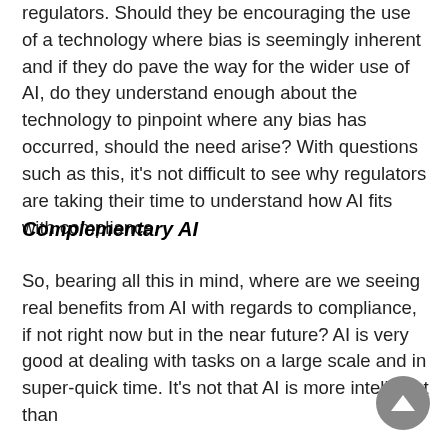regulators. Should they be encouraging the use of a technology where bias is seemingly inherent and if they do pave the way for the wider use of AI, do they understand enough about the technology to pinpoint where any bias has occurred, should the need arise? With questions such as this, it's not difficult to see why regulators are taking their time to understand how AI fits with compliance.
Complementary AI
So, bearing all this in mind, where are we seeing real benefits from AI with regards to compliance, if not right now but in the near future? AI is very good at dealing with tasks on a large scale and in super-quick time. It's not that AI is more intelligent than